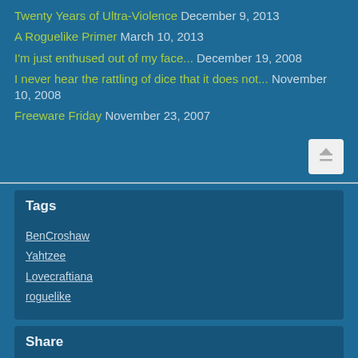Twenty Years of Ultra-Violence December 9, 2013
A Roguelike Primer March 10, 2013
I'm just enthused out of my face... December 19, 2008
I never hear the rattling of dice that it does not... November 10, 2008
Freeware Friday November 23, 2007
Tags
BenCroshaw
Yahtzee
Lovecraftiana
roguelike
Share